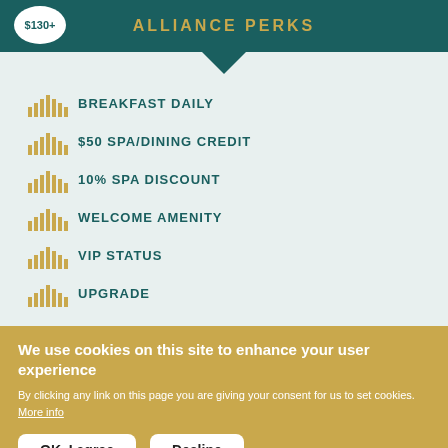ALLIANCE PERKS
BREAKFAST DAILY
$50 SPA/DINING CREDIT
10% SPA DISCOUNT
WELCOME AMENITY
VIP STATUS
UPGRADE
We use cookies on this site to enhance your user experience
By clicking any link on this page you are giving your consent for us to set cookies. More info